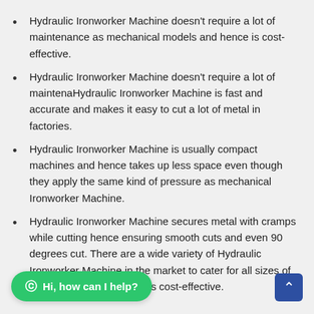Hydraulic Ironworker Machine doesn't require a lot of maintenance as mechanical models and hence is cost-effective.
Hydraulic Ironworker Machine doesn't require a lot of maintenaHydraulic Ironworker Machine is fast and accurate and makes it easy to cut a lot of metal in factories.
Hydraulic Ironworker Machine is usually compact machines and hence takes up less space even though they apply the same kind of pressure as mechanical Ironworker Machine.
Hydraulic Ironworker Machine secures metal with cramps while cutting hence ensuring smooth cuts and even 90 degrees cut. There are a wide variety of Hydraulic Ironworker Machine in the market to cater for all sizes of anical models and hence is cost-effective.